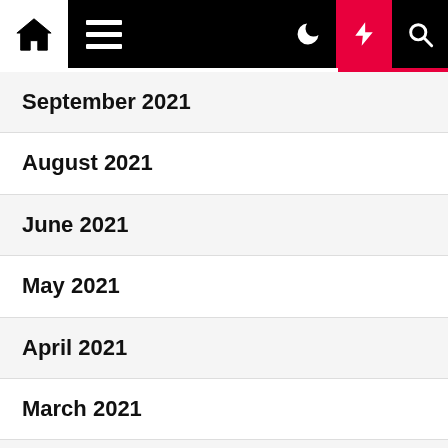Navigation bar with home, menu, moon, lightning, and search icons
September 2021
August 2021
June 2021
May 2021
April 2021
March 2021
February 2021
November 2020
October 2020